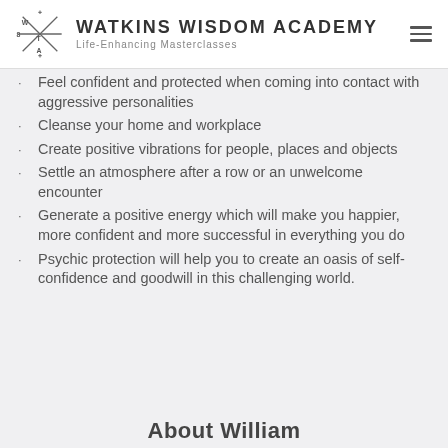WATKINS WISDOM ACADEMY
Life-Enhancing Masterclasses
Feel confident and protected when coming into contact with aggressive personalities
Cleanse your home and workplace
Create positive vibrations for people, places and objects
Settle an atmosphere after a row or an unwelcome encounter
Generate a positive energy which will make you happier, more confident and more successful in everything you do
Psychic protection will help you to create an oasis of self-confidence and goodwill in this challenging world.
About William